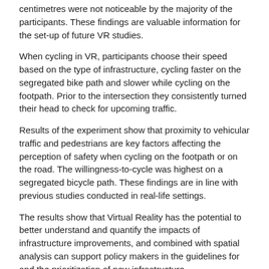centimetres were not noticeable by the majority of the participants. These findings are valuable information for the set-up of future VR studies.
When cycling in VR, participants choose their speed based on the type of infrastructure, cycling faster on the segregated bike path and slower while cycling on the footpath. Prior to the intersection they consistently turned their head to check for upcoming traffic.
Results of the experiment show that proximity to vehicular traffic and pedestrians are key factors affecting the perception of safety when cycling on the footpath or on the road. The willingness-to-cycle was highest on a segregated bicycle path. These findings are in line with previous studies conducted in real-life settings.
The results show that Virtual Reality has the potential to better understand and quantify the impacts of infrastructure improvements, and combined with spatial analysis can support policy makers in the guidelines for and the prioritization of new infrastructure.
Michael van Eggermond is senior researcher at the University of Applied Science Northwest Switzerland (FHNW) and is interested in novel survey methods, the measurement of the built environment and its relationship with travel behaviour.